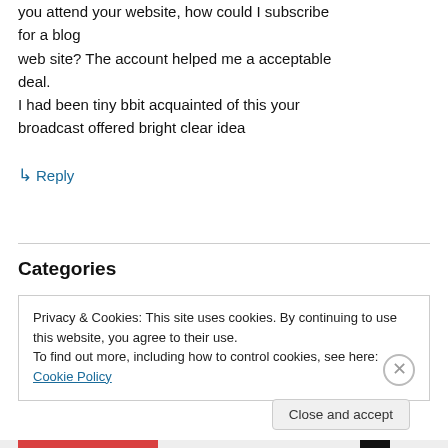you attend your website, how could I subscribe for a blog web site? The account helped me a acceptable deal. I had been tiny bbit acquainted of this your broadcast offered bright clear idea
↳ Reply
Categories
Privacy & Cookies: This site uses cookies. By continuing to use this website, you agree to their use.
To find out more, including how to control cookies, see here: Cookie Policy
Close and accept